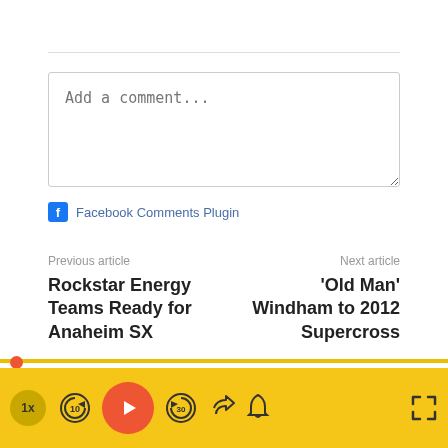Add a comment...
Facebook Comments Plugin
Previous article
Next article
Rockstar Energy Teams Ready for Anaheim SX
'Old Man' Windham to 2012 Supercross
[Figure (screenshot): Author photo thumbnail (black and white headshot)]
[Figure (screenshot): Video player control bar with yellow background, speed button (1x), back 10s, play, forward 30s, share, bell, and fullscreen controls]